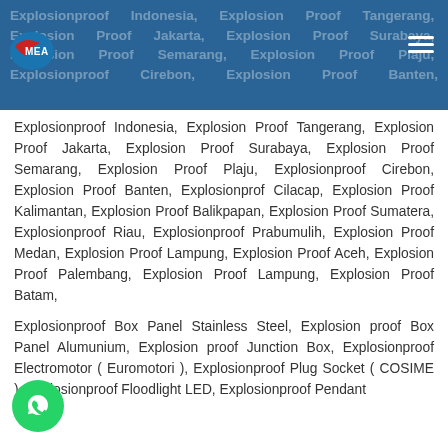Explosionproof Indonesia, Explosion Proof Tangerang, Explosion Proof Jakarta, Explosion Proof Surabaya, Explosion Proof Semarang, Explosion Proof Plaju, Explosionproof Cirebon, Explosion Proof Banten, Explosionprof Cilacap, Explosion Proof Kalimantan, Explosion Proof Balikpapan, Explosion Proof Sumatera, Explosionproof Riau, Explosionproof Prabumulih, Explosion Proof Medan, Explosion Proof Lampung, Explosion Proof Aceh, Explosion Proof Palembang, Explosion Proof Lampung, Explosion Proof Batam,
Explosionproof Indonesia, Explosion Proof Tangerang, Explosion Proof Jakarta, Explosion Proof Surabaya, Explosion Proof Semarang, Explosion Proof Plaju, Explosionproof Cirebon, Explosion Proof Banten, Explosionprof Cilacap, Explosion Proof Kalimantan, Explosion Proof Balikpapan, Explosion Proof Sumatera, Explosionproof Riau, Explosionproof Prabumulih, Explosion Proof Medan, Explosion Proof Lampung, Explosion Proof Aceh, Explosion Proof Palembang, Explosion Proof Lampung, Explosion Proof Batam,
Explosionproof Box Panel Stainless Steel, Explosion proof Box Panel Alumunium, Explosion proof Junction Box, Explosionproof Electromotor ( Euromotori ), Explosionproof Plug Socket ( COSIME ), Explosionproof Floodlight LED, Explosionproof Pendant